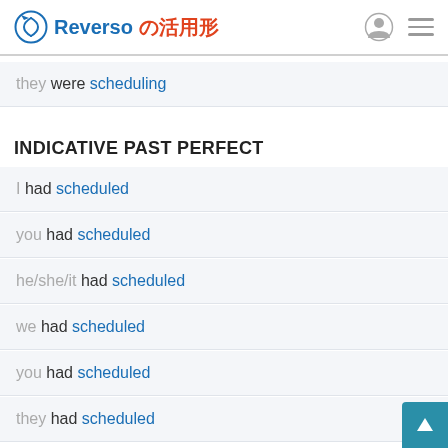Reverso の活用形
they were scheduling
INDICATIVE PAST PERFECT
I had scheduled
you had scheduled
he/she/it had scheduled
we had scheduled
you had scheduled
they had scheduled
INDICATIVE FUTURE CONTINUOUS